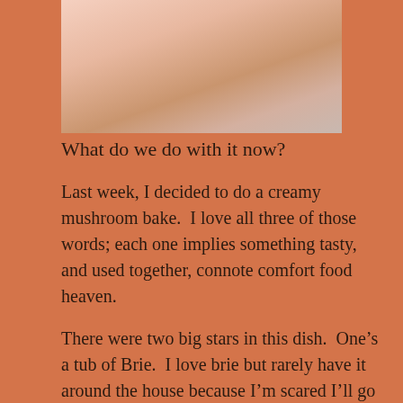[Figure (photo): A person in a white top photographed from below the face/chin area, with a striped fabric visible in the background.]
What do we do with it now?
Last week, I decided to do a creamy mushroom bake.  I love all three of those words; each one implies something tasty, and used together, connote comfort food heaven.
There were two big stars in this dish.  One’s a tub of Brie.  I love brie but rarely have it around the house because I’m scared I’ll go into a cheese fugue state and run dairy amuck.  It’s the same thing with still-warm Krispy Kreme doughnuts—I just don’t trust